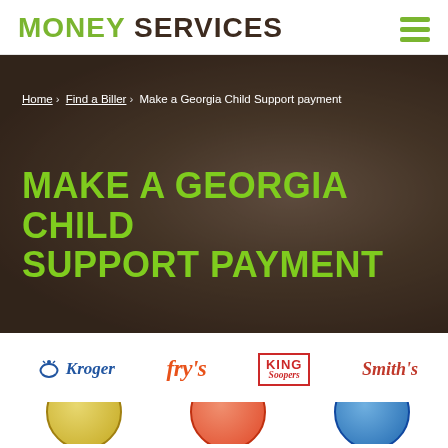MONEY SERVICES
Home › Find a Biller › Make a Georgia Child Support payment
MAKE A GEORGIA CHILD SUPPORT PAYMENT
[Figure (logo): Row of grocery store brand logos: Kroger, Fry's, King Soopers, Smith's, and partial logos below]